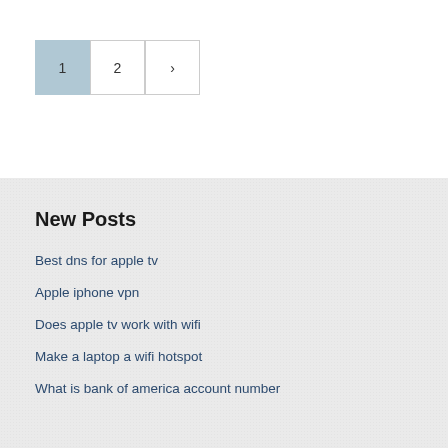[Figure (other): Pagination control with page 1 active (highlighted in light blue), page 2, and a next arrow button]
New Posts
Best dns for apple tv
Apple iphone vpn
Does apple tv work with wifi
Make a laptop a wifi hotspot
What is bank of america account number